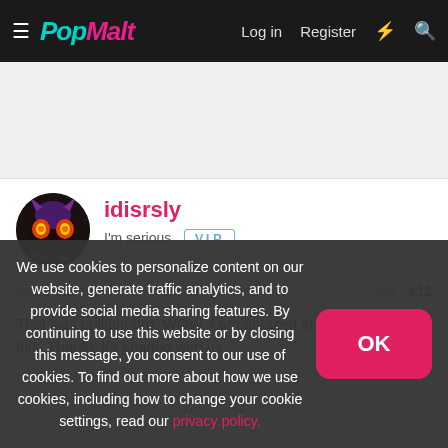PopMalt — Log in  Register
[Figure (other): Advertisement banner area (blank/gray)]
idisrsly
I'm serious  V.I.P.
Aug 27, 2010  #12
That was brilliant bro. WOW. I am amazed at your talent with this. Thanks for sharing with us.
We use cookies to personalize content on our website, generate traffic analytics, and to provide social media sharing features. By continuing to use this website or by closing this message, you consent to our use of cookies. To find out more about how we use cookies, including how to change your cookie settings, read our privacy policy.